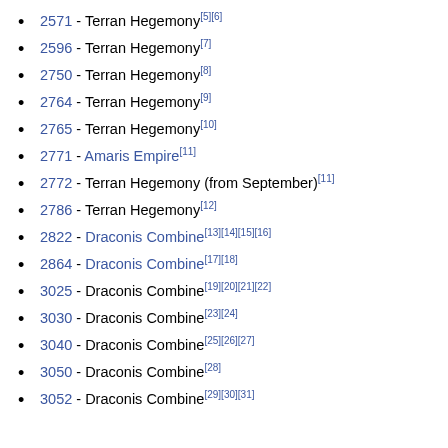2571 - Terran Hegemony[5][6]
2596 - Terran Hegemony[7]
2750 - Terran Hegemony[8]
2764 - Terran Hegemony[9]
2765 - Terran Hegemony[10]
2771 - Amaris Empire[11]
2772 - Terran Hegemony (from September)[11]
2786 - Terran Hegemony[12]
2822 - Draconis Combine[13][14][15][16]
2864 - Draconis Combine[17][18]
3025 - Draconis Combine[19][20][21][22]
3030 - Draconis Combine[23][24]
3040 - Draconis Combine[25][26][27]
3050 - Draconis Combine[28]
3052 - Draconis Combine[29][30][31]